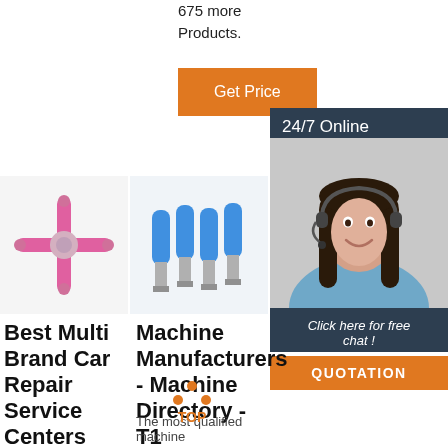675 more Products.
Get Price
24/7 Online
[Figure (photo): Customer service representative woman with headset, smiling]
Click here for free chat !
QUOTATION
[Figure (photo): Pink four-way heat shrink connector]
[Figure (photo): Blue insulated spade terminal connectors, set of four]
[Figure (photo): Yellow insulated connector]
Best Multi Brand Car Repair Service Centers and Auto Body
Machine Manufacturers - Machine Directory - T1
Auto Aluminum Repair Question
The most qualified machine
2016-7-27u2002·u2002Contact